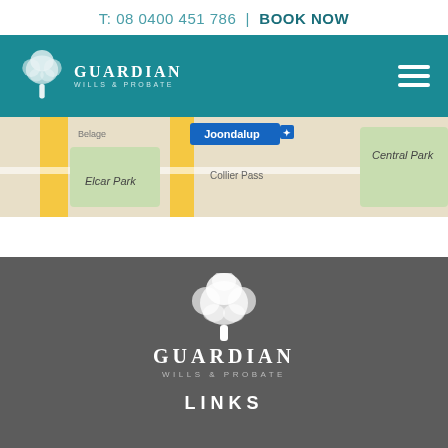T: 08 0400 451 786 | BOOK NOW
[Figure (logo): Guardian Wills & Probate logo with tree illustration on teal background header with hamburger menu]
[Figure (map): Google Maps screenshot showing Joondalup area with Elcar Park, Central Park, Collier Pass labels]
[Figure (logo): Guardian Wills & Probate logo with tree illustration on dark grey footer background]
LINKS